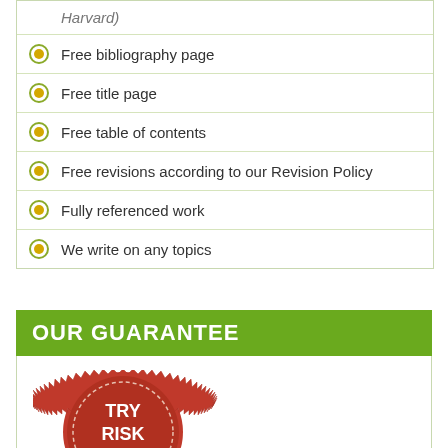Harvard)
Free bibliography page
Free title page
Free table of contents
Free revisions according to our Revision Policy
Fully referenced work
We write on any topics
OUR GUARANTEE
[Figure (illustration): Red circular stamp badge with serrated edge saying TRY RISK FREE with a banner below reading RESULTS GUARANTEED]